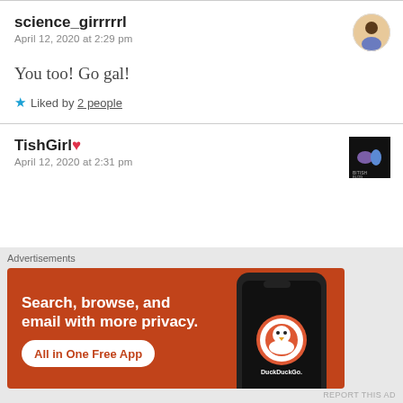science_girrrrrl
April 12, 2020 at 2:29 pm
You too! Go gal!
Liked by 2 people
TishGirl
April 12, 2020 at 2:31 pm
[Figure (infographic): DuckDuckGo advertisement: 'Search, browse, and email with more privacy. All in One Free App' with phone image showing DuckDuckGo logo]